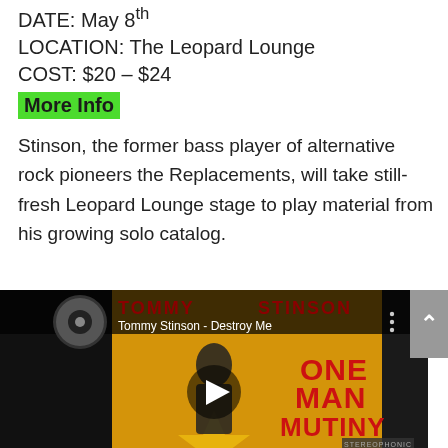DATE: May 8th
LOCATION: The Leopard Lounge
COST: $20 – $24
More Info
Stinson, the former bass player of alternative rock pioneers the Replacements, will take still-fresh Leopard Lounge stage to play material from his growing solo catalog.
[Figure (screenshot): Video thumbnail for Tommy Stinson - Destroy Me, showing album art for 'One Man Mutiny' with a play button overlay. Text reads 'TOMMY STINSON' and 'Tommy Stinson - Destroy Me' at the top, 'ONE MAN MUTINY' on the right side.]